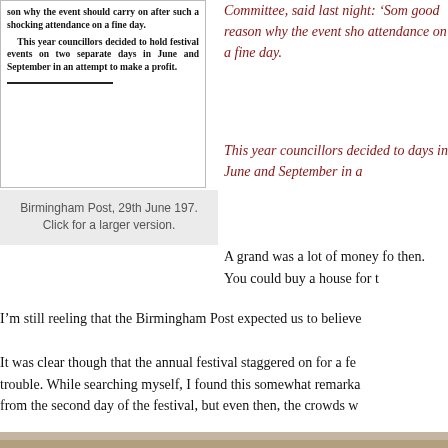[Figure (photo): Newspaper clipping from Birmingham Post showing text about festival attendance and councillors deciding to hold festival events on two separate days in June and September.]
Birmingham Post, 29th June 197. Click for a larger version.
Committee, said last night: 'Som good reason why the event sho attendance on a fine day. This year councillors decided to days in June and September in a
A grand was a lot of money fo then. You could buy a house for t
I'm still reeling that the Birmingham Post expected us to believe
It was clear though that the annual festival staggered on for a fe trouble. While searching myself, I found this somewhat remarka from the second day of the festival, but even then, the crowds w
[Figure (photo): Close-up photo of a person's face, partially visible at the bottom of the page.]